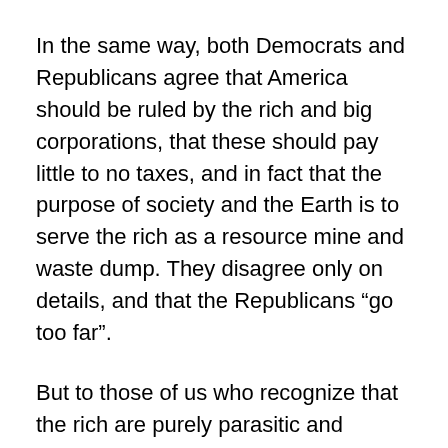In the same way, both Democrats and Republicans agree that America should be ruled by the rich and big corporations, that these should pay little to no taxes, and in fact that the purpose of society and the Earth is to serve the rich as a resource mine and waste dump. They disagree only on details, and that the Republicans “go too far”.
But to those of us who recognize that the rich are purely parasitic and destructive, who want to abolish the rich completely, who want to abolish concentrated wealth as such, Dembots and Repbots are identical.
They both agree on ecocide. They both agree that the living Earth should be nothing but a resource mine and